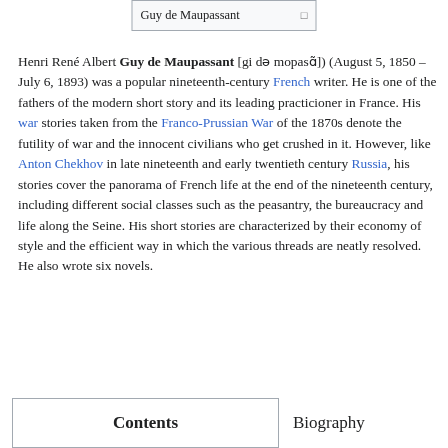Guy de Maupassant
Henri René Albert Guy de Maupassant [gi də mopasɑ̃]) (August 5, 1850 – July 6, 1893) was a popular nineteenth-century French writer. He is one of the fathers of the modern short story and its leading practicioner in France. His war stories taken from the Franco-Prussian War of the 1870s denote the futility of war and the innocent civilians who get crushed in it. However, like Anton Chekhov in late nineteenth and early twentieth century Russia, his stories cover the panorama of French life at the end of the nineteenth century, including different social classes such as the peasantry, the bureaucracy and life along the Seine. His short stories are characterized by their economy of style and the efficient way in which the various threads are neatly resolved. He also wrote six novels.
Contents
Biography